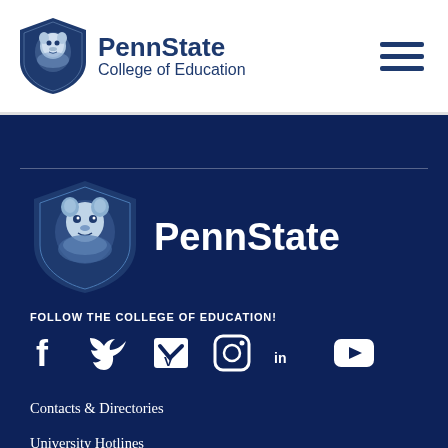[Figure (logo): Penn State College of Education header with lion shield logo, text 'PennState College of Education', and hamburger menu icon]
[Figure (logo): Penn State footer logo: large lion shield with 'PennState' text in white]
FOLLOW THE COLLEGE OF EDUCATION!
[Figure (infographic): Social media icons: Facebook, Twitter, Vimeo, Instagram, LinkedIn, YouTube]
Contacts & Directories
University Hotlines
Privacy & Legal Statements